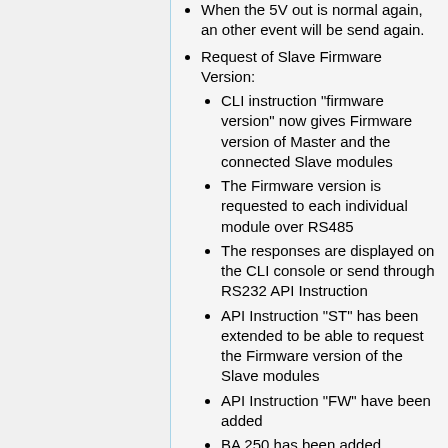When the 5V out is normal again, an other event will be send again.
Request of Slave Firmware Version:
CLI instruction "firmware version" now gives Firmware version of Master and the connected Slave modules
The Firmware version is requested to each individual module over RS485
The responses are displayed on the CLI console or send through RS232 API Instruction
API Instruction "ST" has been extended to be able to request the Firmware version of the Slave modules
API Instruction "FW" have been added
BA 250 has been added